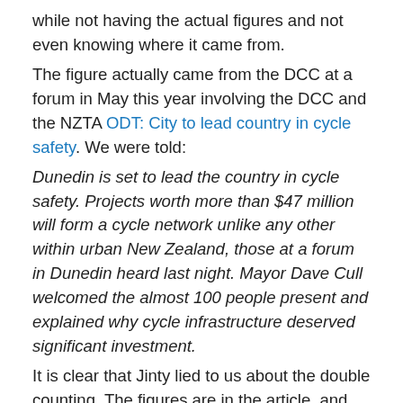while not having the actual figures and not even knowing where it came from.
The figure actually came from the DCC at a forum in May this year involving the DCC and the NZTA ODT: City to lead country in cycle safety. We were told:
Dunedin is set to lead the country in cycle safety. Projects worth more than $47 million will form a cycle network unlike any other within urban New Zealand, those at a forum in Dunedin heard last night. Mayor Dave Cull welcomed the almost 100 people present and explained why cycle infrastructure deserved significant investment.
It is clear that Jinty lied to us about the double counting. The figures are in the article, and there is no double counting. There is also no double counting in Jinty's figures, because she doesn't have any. Her attempt to discredit and minimize this estimated cost of bicycle